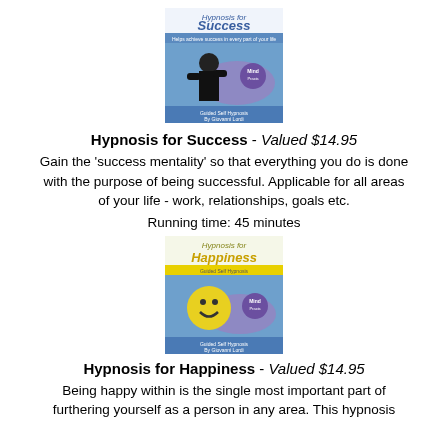[Figure (illustration): Book cover for 'Hypnosis for Success' - shows a person breaking through a surface with 'Mind' logo and 'Guided Self Hypnosis By Giovanni Lordi' text]
Hypnosis for Success - Valued $14.95
Gain the 'success mentality' so that everything you do is done with the purpose of being successful. Applicable for all areas of your life - work, relationships, goals etc.
Running time: 45 minutes
[Figure (illustration): Book cover for 'Hypnosis for Happiness' - shows a yellow smiley face with 'Mind' logo and 'Guided Self Hypnosis By Giovanni Lordi' text]
Hypnosis for Happiness - Valued $14.95
Being happy within is the single most important part of furthering yourself as a person in any area. This hypnosis